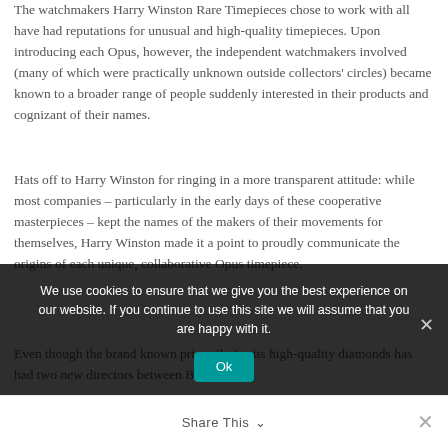The watchmakers Harry Winston Rare Timepieces chose to work with all have had reputations for unusual and high-quality timepieces. Upon introducing each Opus, however, the independent watchmakers involved (many of which were practically unknown outside collectors' circles) became known to a broader range of people suddenly interested in their products and cognizant of their names.
Hats off to Harry Winston for ringing in a more transparent attitude: while most companies – particularly in the early days of these cooperative masterpieces – kept the names of the makers of their movements for themselves, Harry Winston made it a point to proudly communicate the origins of each unique, collaborative Opus timepiece.
Even though the brand known primarily for its high-quality diamonds has had two new directors between Büsser's...
We use cookies to ensure that we give you the best experience on our website. If you continue to use this site we will assume that you are happy with it.
Share This